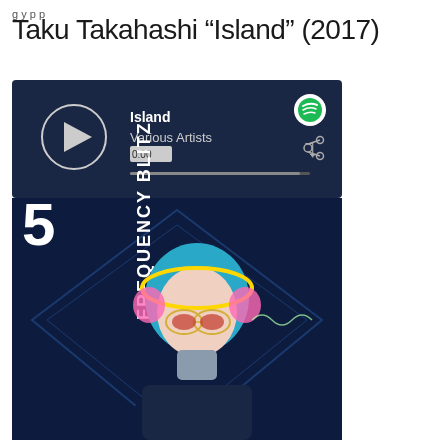Taku Takahashi “Island” (2017)
[Figure (screenshot): Spotify embedded music player showing the album 'Island' by Various Artists with a time display of 0:00, a play button, progress bar, share icon, and Spotify logo. Below the player controls is the album artwork for 'Frequency Blitz 5' featuring an anime-style cyborg girl with blue hair wearing headphones and glasses against a dark blue geometric background.]